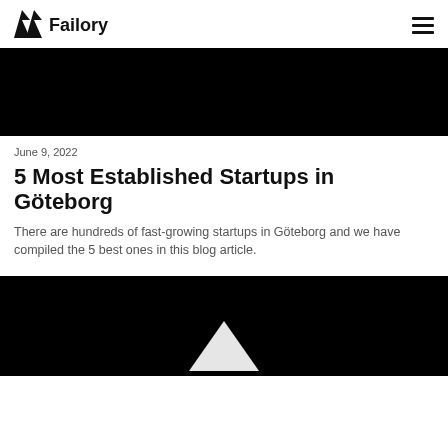Failory
[Figure (photo): Dark/black hero image at top of article]
June 9, 2022
5 Most Established Startups in Göteborg
There are hundreds of fast-growing startups in Göteborg and we have compiled the 5 best ones in this blog article.
[Figure (photo): Dark hero image at bottom, partially visible with a white geometric shape/logo]